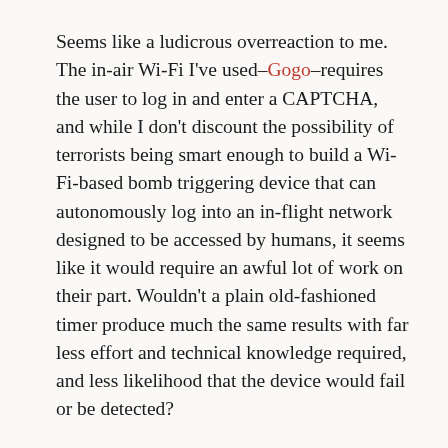Seems like a ludicrous overreaction to me. The in-air Wi-Fi I've used–Gogo–requires the user to log in and enter a CAPTCHA, and while I don't discount the possibility of terrorists being smart enough to build a Wi-Fi-based bomb triggering device that can autonomously log into an in-flight network designed to be accessed by humans, it seems like it would require an awful lot of work on their part. Wouldn't a plain old-fashioned timer produce much the same results with far less effort and technical knowledge required, and less likelihood that the device would fail or be detected?
Remember when a bunch of news organizations suggested that laptops might be banned from airplanes, period? Let's hope this theory is just as solid as that one…
[Figure (other): Social sharing buttons: Facebook (blue), Twitter (light blue), Google+ (red)]